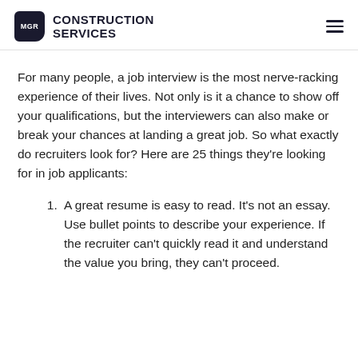MGR CONSTRUCTION SERVICES
For many people, a job interview is the most nerve-racking experience of their lives. Not only is it a chance to show off your qualifications, but the interviewers can also make or break your chances at landing a great job. So what exactly do recruiters look for? Here are 25 things they're looking for in job applicants:
1. A great resume is easy to read. It's not an essay. Use bullet points to describe your experience. If the recruiter can't quickly read it and understand the value you bring, they can't proceed.